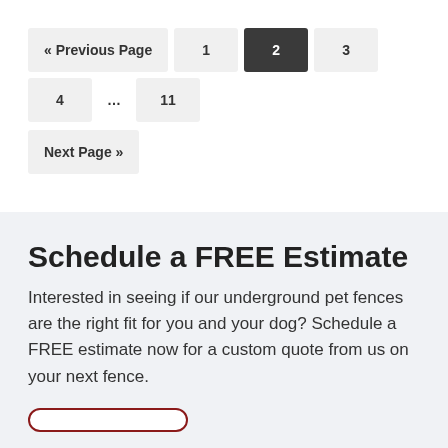« Previous Page  1  2  3  4  …  11  Next Page »
Schedule a FREE Estimate
Interested in seeing if our underground pet fences are the right fit for you and your dog? Schedule a FREE estimate now for a custom quote from us on your next fence.